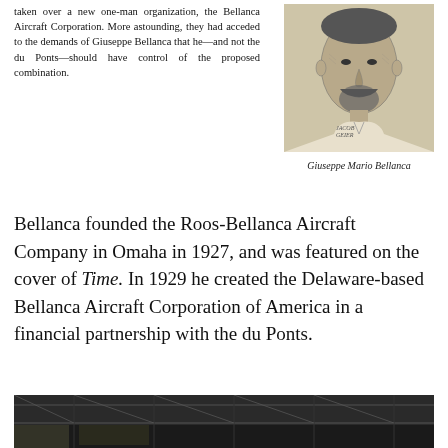taken over a new one-man organization, the Bellanca Aircraft Corporation. More astounding, they had acceded to the demands of Giuseppe Bellanca that he—and not the du Ponts—should have control of the proposed combination.
[Figure (illustration): Portrait sketch/illustration of Giuseppe Mario Bellanca, a man with a beard, rendered in a crosshatch engraving style]
Giuseppe Mario Bellanca
Bellanca founded the Roos-Bellanca Aircraft Company in Omaha in 1927, and was featured on the cover of Time. In 1929 he created the Delaware-based Bellanca Aircraft Corporation of America in a financial partnership with the du Ponts.
[Figure (photo): Black and white photograph of a Bellanca aircraft inside a large hangar, showing the front engine and nose of the plane]